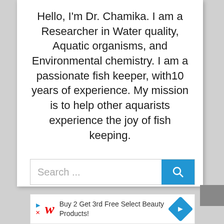Hello, I'm Dr. Chamika. I am a Researcher in Water quality, Aquatic organisms, and Environmental chemistry. I am a passionate fish keeper, with10 years of experience. My mission is to help other aquarists experience the joy of fish keeping.
...
Search ...
Buy 2 Get 3rd Free Select Beauty Products!